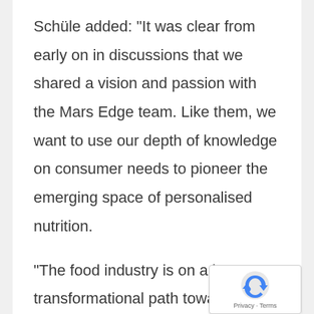Schüle added: “It was clear from early on in discussions that we shared a vision and passion with the Mars Edge team. Like them, we want to use our depth of knowledge on consumer needs to pioneer the emerging space of personalised nutrition.
“The food industry is on a huge transformational path towards improving nutrition so people can reach their goals and improve their health. And together with Mars Edge, we want to take the lead in this